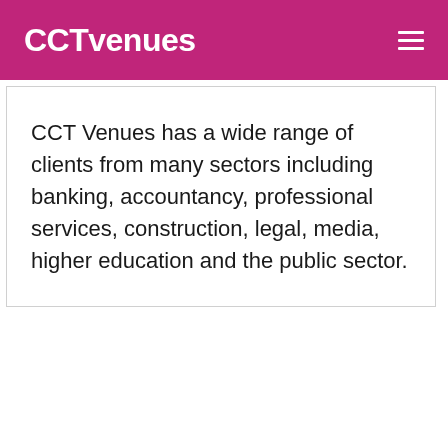CCTvenues
CCT Venues has a wide range of clients from many sectors including banking, accountancy, professional services, construction, legal, media, higher education and the public sector.
[Figure (photo): Portrait photo of a blonde woman smiling, shown from shoulders up against a light blue/grey background]